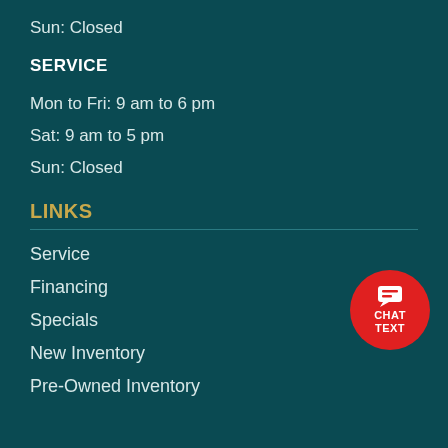Sun: Closed
SERVICE
Mon to Fri: 9 am to 6 pm
Sat: 9 am to 5 pm
Sun: Closed
LINKS
Service
Financing
Specials
New Inventory
Pre-Owned Inventory
[Figure (illustration): Red circular chat/text button with speech bubble icon and labels CHAT TEXT]